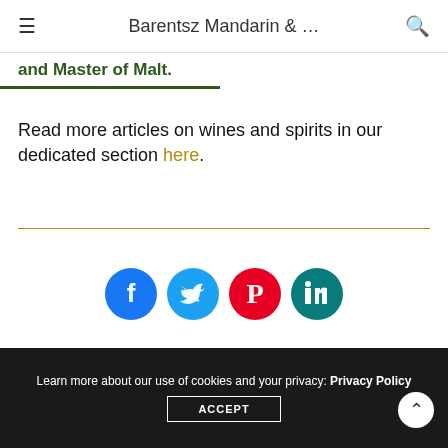Barentsz Mandarin & ...
and Master of Malt.
Read more articles on wines and spirits in our dedicated section here.
[Figure (other): Social share buttons: Facebook (blue), Twitter (light blue), Pinterest (red), LinkedIn (teal)]
[Figure (photo): Photo of a hand holding a bottle, partial view of a person in a dark suit with pink shirt cuff]
Learn more about our use of cookies and your privacy: Privacy Policy  ACCEPT